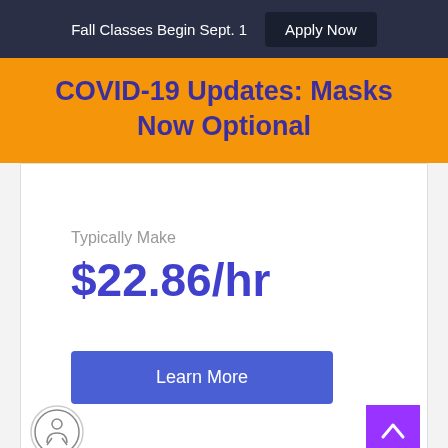Fall Classes Begin Sept. 1   Apply Now
COVID-19 Updates: Masks Now Optional
Typically Make
$22.86/hr
Learn More